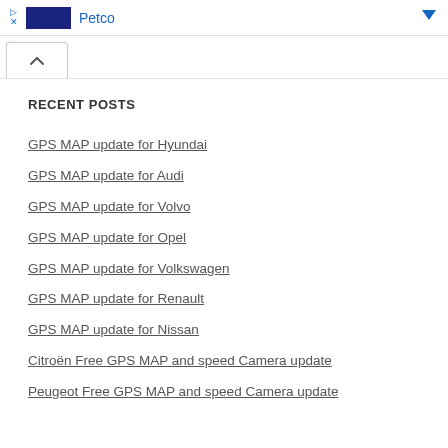[Figure (screenshot): Advertisement banner showing Petco logo (dark blue rectangle) with 'Petco' text in blue, play and close icons on left, dropdown arrow on right]
[Figure (screenshot): Collapse/accordion button with up-arrow caret, white background with border]
RECENT POSTS
GPS MAP update for Hyundai
GPS MAP update for Audi
GPS MAP update for Volvo
GPS MAP update for Opel
GPS MAP update for Volkswagen
GPS MAP update for Renault
GPS MAP update for Nissan
Citroën Free GPS MAP and speed Camera update
Peugeot Free GPS MAP and speed Camera update